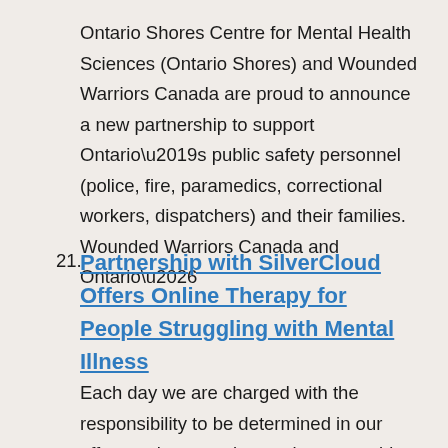Ontario Shores Centre for Mental Health Sciences (Ontario Shores) and Wounded Warriors Canada are proud to announce a new partnership to support Ontario’s public safety personnel (police, fire, paramedics, correctional workers, dispatchers) and their families. Wounded Warriors Canada and Ontario…
21. Partnership with SilverCloud Offers Online Therapy for People Struggling with Mental Illness
Each day we are charged with the responsibility to be determined in our efforts to leverage innovation to provide exemplary